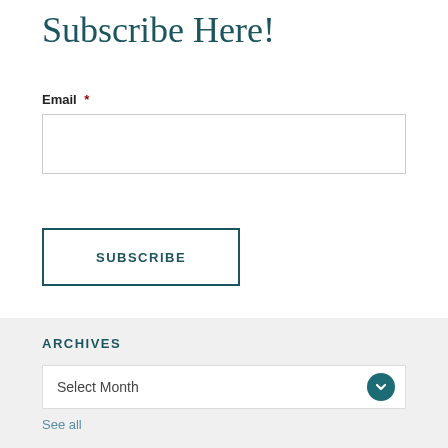Subscribe Here!
Email *
[Figure (other): Email input text field, empty, with light gray border]
[Figure (other): Subscribe button with teal border and uppercase teal text SUBSCRIBE]
ARCHIVES
[Figure (other): Select Month dropdown with teal circle chevron icon on right]
See all